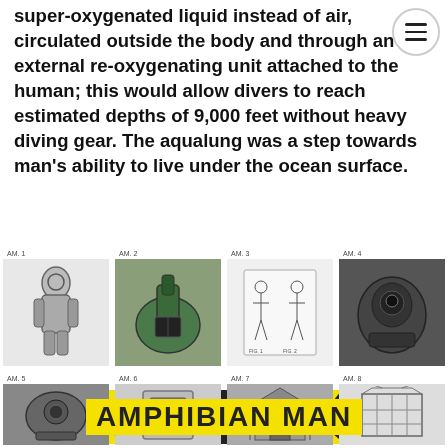super-oxygenated liquid instead of air, circulated outside the body and through an external re-oxygenating unit attached to the human; this would allow divers to reach estimated depths of 9,000 feet without heavy diving gear. The aqualung was a step towards man's ability to live under the ocean surface.
[Figure (infographic): AMPHIBIAN MAN banner with yellow and black hazard stripes, followed by two rows of four labeled images each (AM.1 through AM.8) showing historical diving equipment, submarines, patent diagrams, and related underwater technology.]